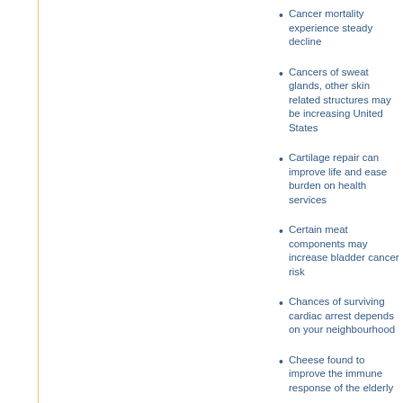Cancer mortality experience steady decline
Cancers of sweat glands, other skin related structures may be increasing United States
Cartilage repair can improve life and ease burden on health services
Certain meat components may increase bladder cancer risk
Chances of surviving cardiac arrest depends on your neighbourhood
Cheese found to improve the immune response of the elderly
Chemical preservatives your Christmas…